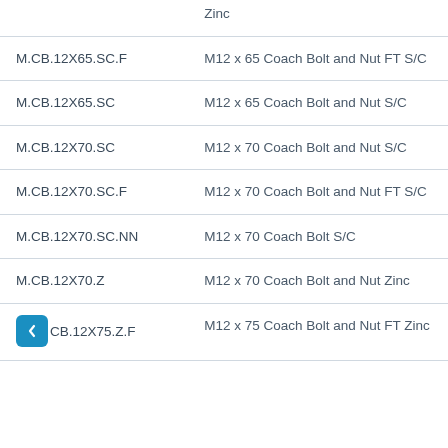| Code | Description |
| --- | --- |
|  | Zinc |
| M.CB.12X65.SC.F | M12 x 65 Coach Bolt and Nut FT S/C |
| M.CB.12X65.SC | M12 x 65 Coach Bolt and Nut S/C |
| M.CB.12X70.SC | M12 x 70 Coach Bolt and Nut S/C |
| M.CB.12X70.SC.F | M12 x 70 Coach Bolt and Nut FT S/C |
| M.CB.12X70.SC.NN | M12 x 70 Coach Bolt S/C |
| M.CB.12X70.Z | M12 x 70 Coach Bolt and Nut Zinc |
| M.CB.12X75.Z.F | M12 x 75 Coach Bolt and Nut FT Zinc |